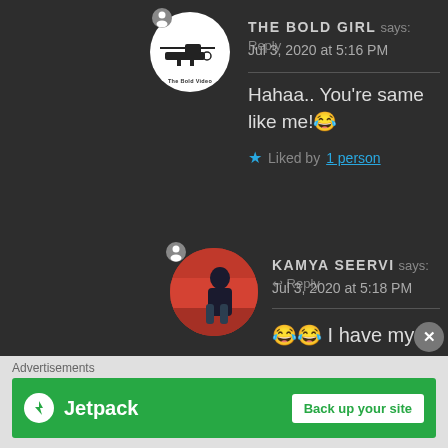THE BOLD GIRL says: Reply
Jul 3, 2020 at 5:16 PM
Hahaa.. You’re same like me! 😂
★ Liked by 1 person
KAMYA SEERVI says: ← Reply
Jul 3, 2020 at 5:18 PM
😂😂 I have my eyes around like you.
Advertisements
[Figure (screenshot): Jetpack advertisement banner with green background showing Jetpack logo and 'Back up your site' button]